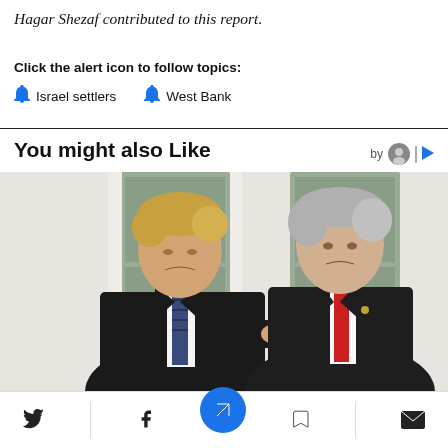Hagar Shezaf contributed to this report.
Click the alert icon to follow topics:
Israel settlers
West Bank
You might also Like
[Figure (photo): Two men in suits standing side by side. The man on the left has blond hair and wears a dark suit with a striped tie, pointing to the right. The man on the right wears a dark suit with a red tie.]
Social sharing bar with Twitter, Facebook, bookmark, and email icons, and a central blue navigation button.